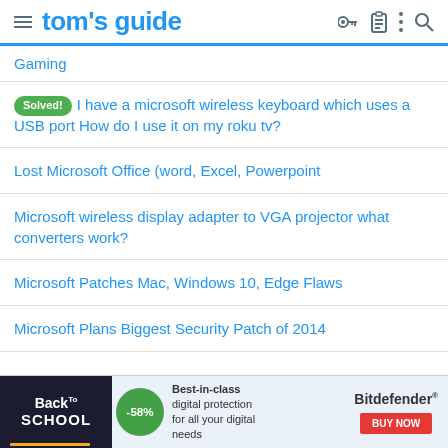tom's guide
Gaming
Solved! I have a microsoft wireless keyboard which uses a USB port How do I use it on my roku tv?
Lost Microsoft Office (word, Excel, Powerpoint
Microsoft wireless display adapter to VGA projector what converters work?
Microsoft Patches Mac, Windows 10, Edge Flaws
Microsoft Plans Biggest Security Patch of 2014
[Figure (screenshot): Back to School advertisement banner with -58% discount circle, Bitdefender branding, and BUY NOW button. Text: Best-in-class digital protection for all your digital needs]